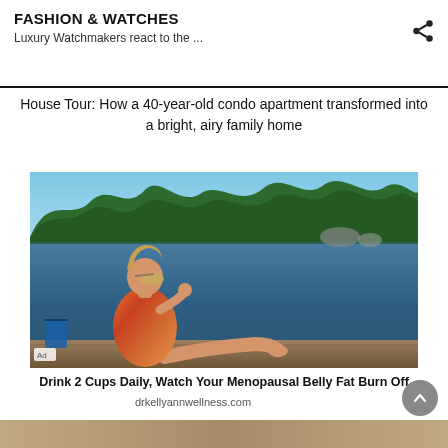FASHION & WATCHES
Luxury Watchmakers react to the ...
House Tour: How a 40-year-old condo apartment transformed into a bright, airy family home
[Figure (photo): Woman in colorful swimsuit sitting on a dock by a lake with forest in the background. Ad label visible in bottom left.]
Drink 2 Cups Daily, Watch Your Menopausal Belly Fat Burn Off
drkellyannwellness.com